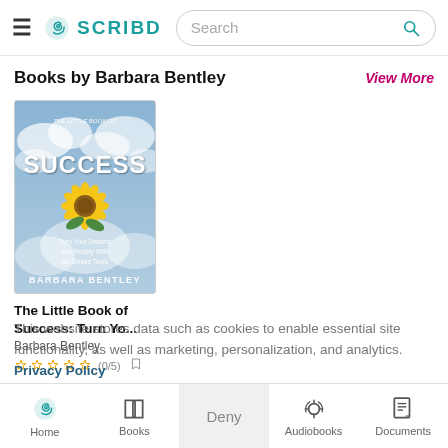≡  SCRIBD  [Search]  🔍
Books by Barbara Bentley
View More
[Figure (illustration): Book cover for 'The Little Book of Success: Turn Your Dreams Into Reality With an Simple Tools' by Barbara Bentley, showing a sunflower against a blue cloudy sky background]
The Little Book of Success: Turn Yo...
Barbara Bentley
☆☆☆☆☆ (0/5)
This website stores data such as cookies to enable essential site functionality, as well as marketing, personalization, and analytics. Privacy Policy
Accept
Related Categories
Home   Books   Deny   Audiobooks   Documents